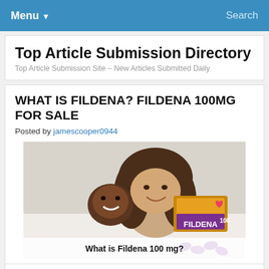Menu ▼   Search
Top Article Submission Directory
Top Article Submission Site – New Articles Submitted Daily
WHAT IS FILDENA? FILDENA 100MG FOR SALE
Posted by jamescooper0944
[Figure (photo): A smiling couple embracing on a bed, alongside a box of Fildena 100 mg tablets and loose purple pills. Caption reads: What is Fildena 100 mg?]
What is Fildena 100mg Pills?